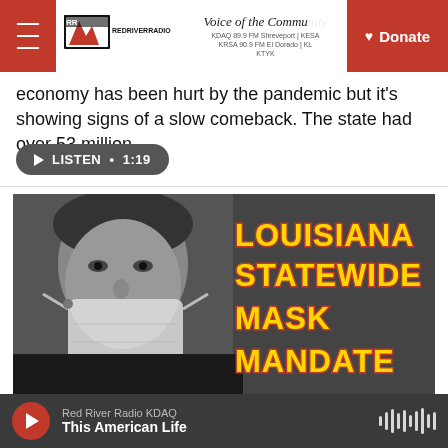Voice of the Community — Red River Radio | KDAQ 89.9 FM Shreveport | KESA | KRSA 90.9 FM El Dorado | KTYK
economy has been hurt by the pandemic but it's showing signs of a slow comeback. The state had over 53 million…
LISTEN • 1:19
[Figure (photo): Black and white photo of a woman wearing a face mask with bold yellow text overlay reading 'LOUISIANA STATEWIDE MASK MANDATE' in red-outlined yellow letters on the right side]
Red River Radio KDAQ — This American Life